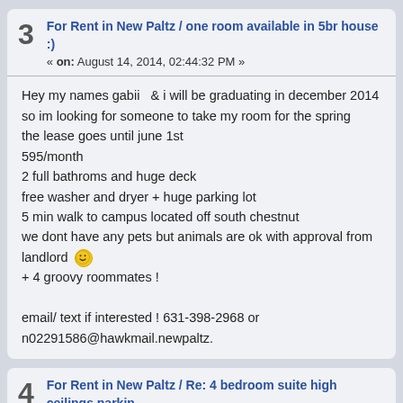3  For Rent in New Paltz / one room available in 5br house :)
« on: August 14, 2014, 02:44:32 PM »
Hey my names gabii  & i will be graduating in december 2014
so im looking for someone to take my room for the spring
the lease goes until june 1st
595/month
2 full bathroms and huge deck
free washer and dryer + huge parking lot
5 min walk to campus located off south chestnut
we dont have any pets but animals are ok with approval from landlord :)
+ 4 groovy roommates !

email/ text if interested ! 631-398-2968 or n02291586@hawkmail.newpaltz.
4  For Rent in New Paltz / Re: 4 bedroom suite high ceilings parkin
« on: February 22, 2013, 11:53:04 PM »
Hey my name is Gabii and would deffinately be interested in more informati
n02291586@hawkmail.newpaltz.edu